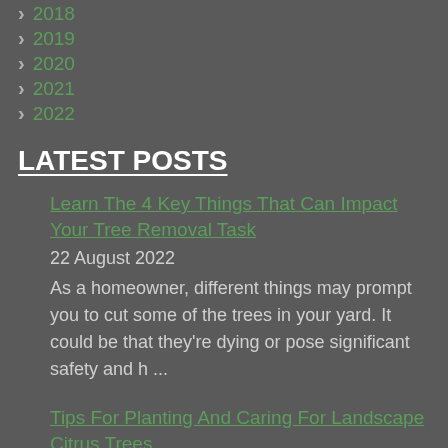2018
2019
2020
2021
2022
LATEST POSTS
Learn The 4 Key Things That Can Impact Your Tree Removal Task
22 August 2022
As a homeowner, different things may prompt you to cut some of the trees in your yard. It could be that they're dying or pose significant safety and h ...
Tips For Planting And Caring For Landscape Citrus Trees
5 August 2022